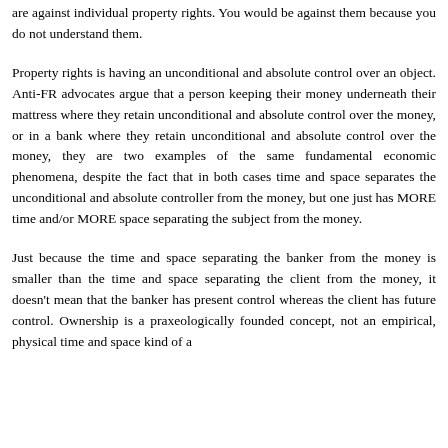their justification is superior to yours, then you are in no position to say they are against individual property rights. You would be against them because you do not understand them.
Property rights is having an unconditional and absolute control over an object. Anti-FR advocates argue that a person keeping their money underneath their mattress where they retain unconditional and absolute control over the money, or in a bank where they retain unconditional and absolute control over the money, they are two examples of the same fundamental economic phenomena, despite the fact that in both cases time and space separates the unconditional and absolute controller from the money, but one just has MORE time and/or MORE space separating the subject from the money.
Just because the time and space separating the banker from the money is smaller than the time and space separating the client from the money, it doesn't mean that the banker has present control whereas the client has future control. Ownership is a praxeologically founded concept, not an empirical, physical time and space kind of a